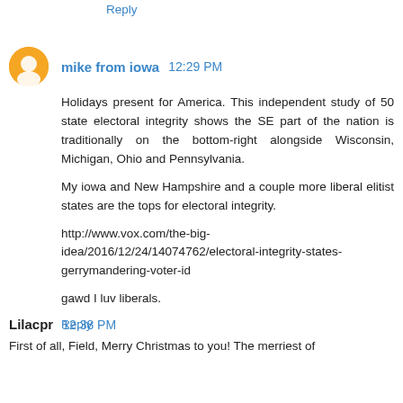Reply
mike from iowa  12:29 PM
Holidays present for America. This independent study of 50 state electoral integrity shows the SE part of the nation is traditionally on the bottom-right alongside Wisconsin, Michigan, Ohio and Pennsylvania.

My iowa and New Hampshire and a couple more liberal elitist states are the tops for electoral integrity.

http://www.vox.com/the-big-idea/2016/12/24/14074762/electoral-integrity-states-gerrymandering-voter-id

gawd I luv liberals.
Reply
Lilacpr  12:38 PM
First of all, Field, Merry Christmas to you! The merriest of